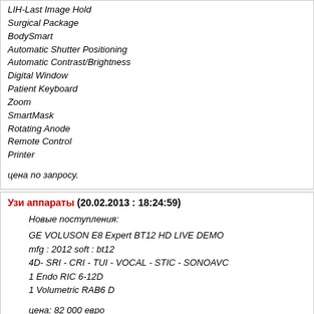LIH-Last Image Hold
Surgical Package
BodySmart
Automatic Shutter Positioning
Automatic Contrast/Brightness
Digital Window
Patient Keyboard
Zoom
SmartMask
Rotating Anode
Remote Control
Printer
цена по запросу.
Узи аппараты (20.02.2013 : 18:24:59)
Новые поступления:
GE VOLUSON E8 Expert BT12 HD LIVE DEMO
mfg : 2012 soft : bt12
4D- SRI - CRI - TUI - VOCAL - STIC - SONOAVC
1 Endo RIC 6-12D
1 Volumetric RAB6 D
цена: 82 000 евро
- GE VOLUSON E8 Expert BT10 DEMO
mfg : 2012 soft : bt10
4D- SRI - CRI - TUI - VOCAL - STIC - SONOAVC
1 Endo RIC 6-12D